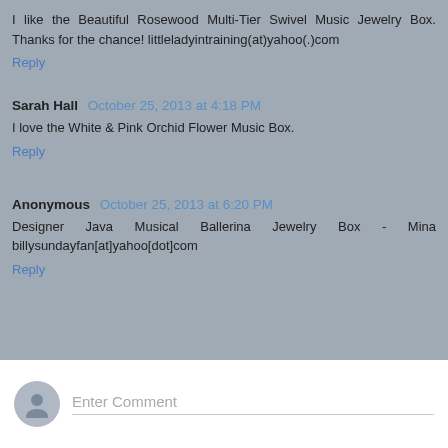I like the Beautiful Rosewood Multi-Tier Swivel Music Jewelry Box. Thanks for the chance! littleladyintraining(at)yahoo(.)com
Reply
Sarah Hall  October 25, 2013 at 4:18 PM
I love the White & Pink Orchid Flower Music Box.
Reply
Anonymous  October 25, 2013 at 6:20 PM
Designer Java Musical Ballerina Jewelry Box - Mina billysundayfan[at]yahoo[dot]com
Reply
Enter Comment